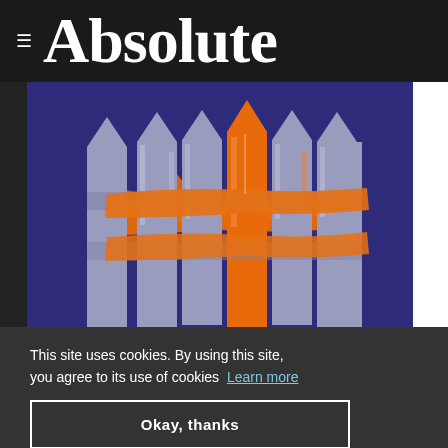≡ Absolute
[Figure (illustration): Illustration of a wooden picket fence on a dark blue/purple background. The fence has grey/lavender pickets with one central picket painted orange. An orange painted cross or X mark is visible across the fence rails. The image represents a fencing company logo or illustration.]
This site uses cookies. By using this site, you agree to its use of cookies Learn more
Okay, thanks